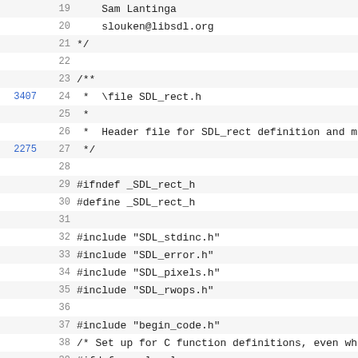Code listing: SDL_rect.h lines 19-41
19    Sam Lantinga
20    slouken@libsdl.org
21  */
22
23  /**
3407  24   *  \file SDL_rect.h
25   *
26   *  Header file for SDL_rect definition and m
2275  27   */
28
29  #ifndef _SDL_rect_h
30  #define _SDL_rect_h
31
32  #include "SDL_stdinc.h"
33  #include "SDL_error.h"
34  #include "SDL_pixels.h"
35  #include "SDL_rwops.h"
36
37  #include "begin_code.h"
38  /* Set up for C function definitions, even wh
39  #ifdef __cplusplus
40  /* *INDENT-OFF* */
41  extern "C" {